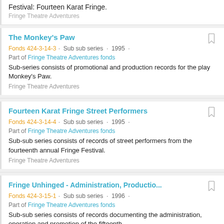Festival: Fourteen Karat Fringe.
Fringe Theatre Adventures
The Monkey's Paw
Fonds 424-3-14-3 · Sub sub series · 1995 ·
Part of Fringe Theatre Adventures fonds
Sub-series consists of promotional and production records for the play Monkey's Paw.
Fringe Theatre Adventures
Fourteen Karat Fringe Street Performers
Fonds 424-3-14-4 · Sub sub series · 1995 ·
Part of Fringe Theatre Adventures fonds
Sub-sub series consists of records of street performers from the fourteenth annual Fringe Festival.
Fringe Theatre Adventures
Fringe Unhinged - Administration, Productio...
Fonds 424-3-15-1 · Sub sub series · 1996 ·
Part of Fringe Theatre Adventures fonds
Sub-sub series consists of records documenting the administration, operation and promotion of the fifteenth